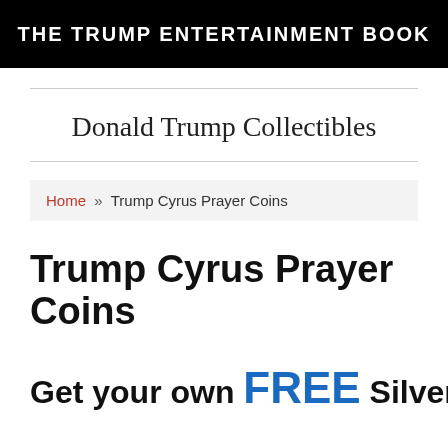THE TRUMP ENTERTAINMENT BOOK
Donald Trump Collectibles
Home » Trump Cyrus Prayer Coins
Trump Cyrus Prayer Coins
Get your own FREE Silver